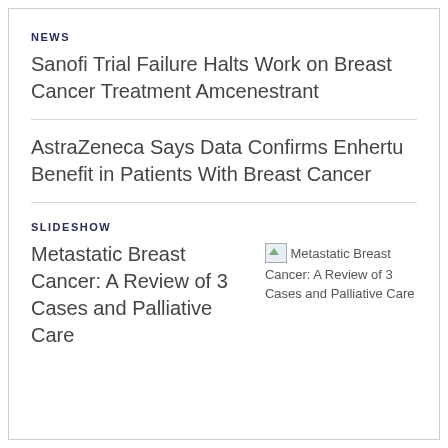NEWS
Sanofi Trial Failure Halts Work on Breast Cancer Treatment Amcenestrant
AstraZeneca Says Data Confirms Enhertu Benefit in Patients With Breast Cancer
SLIDESHOW
Metastatic Breast Cancer: A Review of 3 Cases and Palliative Care
[Figure (photo): Broken image placeholder for Metastatic Breast Cancer: A Review of 3 Cases and Palliative Care slideshow thumbnail]